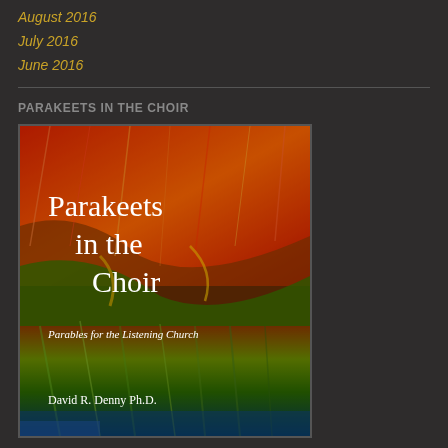August 2016
July 2016
June 2016
PARAKEETS IN THE CHOIR
[Figure (photo): Book cover of 'Parakeets in the Choir: Parables for the Listening Church' by David R. Denny Ph.D., featuring a close-up photograph of red and green macaw parrot feathers with white serif text overlaid.]
Parables for the Listening Church–Click book cover for more information